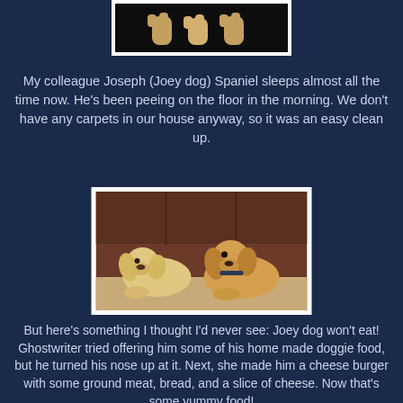[Figure (photo): Partial photo of dogs at top of page, showing paws/fur against dark background]
My colleague Joseph (Joey dog) Spaniel sleeps almost all the time now. He's been peeing on the floor in the morning. We don't have any carpets in our house anyway, so it was an easy clean up.
[Figure (photo): Two Cocker Spaniel dogs lying on a brown leather couch/sofa]
But here's something I thought I'd never see: Joey dog won't eat! Ghostwriter tried offering him some of his home made doggie food, but he turned his nose up at it. Next, she made him a cheese burger with some ground meat, bread, and a slice of cheese. Now that's some yummy food!